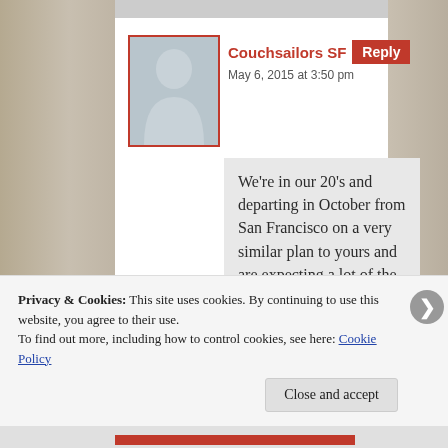[Figure (screenshot): User avatar placeholder with silhouette figure, red border]
Couchsailors SF
Reply
May 6, 2015 at 3:50 pm
We're in our 20's and departing in October from San Francisco on a very similar plan to yours and are expecting a lot of the same fears. The biggest ones will be
Privacy & Cookies: This site uses cookies. By continuing to use this website, you agree to their use.
To find out more, including how to control cookies, see here: Cookie Policy
Close and accept